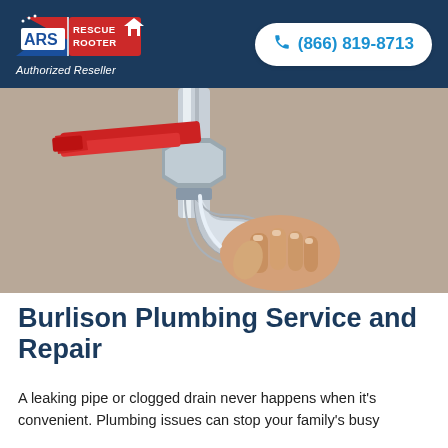ARS Rescue Rooter — Authorized Reseller | (866) 819-8713
[Figure (photo): Close-up photo of a plumber's hand gripping a chrome P-trap pipe, with a red pipe wrench tightening a fitting on chrome plumbing pipes.]
Burlison Plumbing Service and Repair
A leaking pipe or clogged drain never happens when it's convenient. Plumbing issues can stop your family's busy